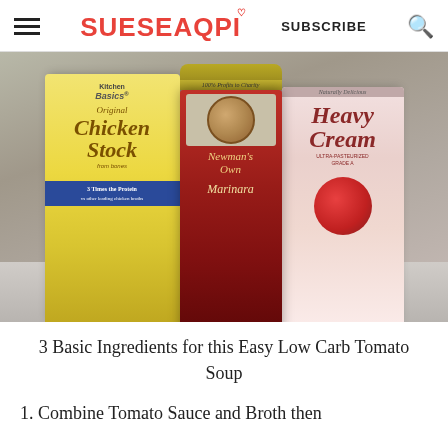SUESEAQPI | SUBSCRIBE
[Figure (photo): Three cooking ingredients on a counter: Kitchen Basics Original Chicken Stock box (yellow), Newman's Own Marinara sauce jar (red), and Heavy Cream carton (pink/white)]
3 Basic Ingredients for this Easy Low Carb Tomato Soup
1. Combine Tomato Sauce and Broth then